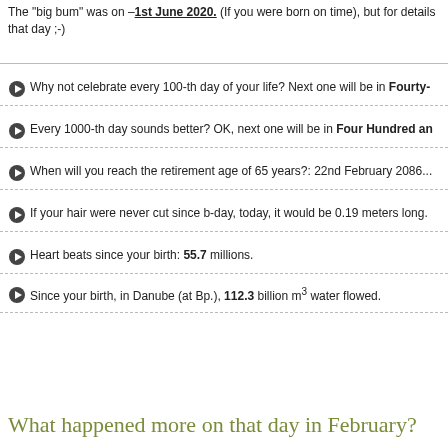The "big bum" was on – 1st June 2020. (If you were born on time), but for details that day ;-)
Why not celebrate every 100-th day of your life? Next one will be in Fourty-...
Every 1000-th day sounds better? OK, next one will be in Four Hundred an...
When will you reach the retirement age of 65 years?: 22nd February 2086...
If your hair were never cut since b-day, today, it would be 0.19 meters long.
Heart beats since your birth: 55.7 millions.
Since your birth, in Danube (at Bp.), 112.3 billion m³ water flowed.
What happened more on that day in February?